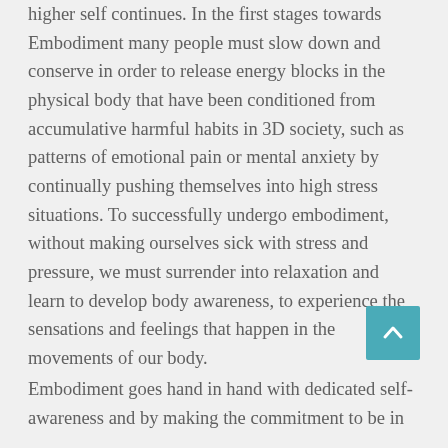higher self continues. In the first stages towards Embodiment many people must slow down and conserve in order to release energy blocks in the physical body that have been conditioned from accumulative harmful habits in 3D society, such as patterns of emotional pain or mental anxiety by continually pushing themselves into high stress situations. To successfully undergo embodiment, without making ourselves sick with stress and pressure, we must surrender into relaxation and learn to develop body awareness, to experience the sensations and feelings that happen in the movements of our body.
Embodiment goes hand in hand with dedicated self-awareness and by making the commitment to be in